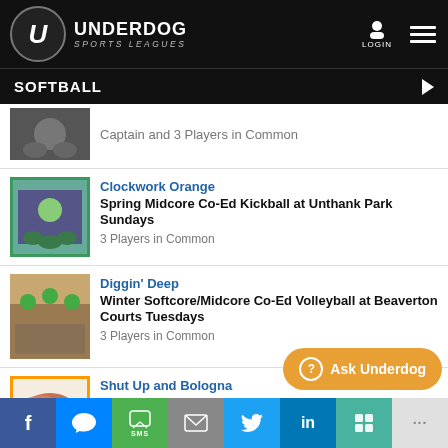UNDERDOG SPORTS LEAGUES
SOFTBALL
Captain and 3 Players in Common
Clockwork Orange
Spring Midcore Co-Ed Kickball at Unthank Park Sundays
3 Players in Common
Diggin' Deep
Winter Softcore/Midcore Co-Ed Volleyball at Beaverton Courts Tuesdays
3 Players in Common
Shut Up and Bologna
Winter Co-ed Sunday Kickball on Turf at Cleveland HS
Captain and 5 Players in Common
f  [messenger]  SMS  [mail]  [twitter]  in  [slack]  ...